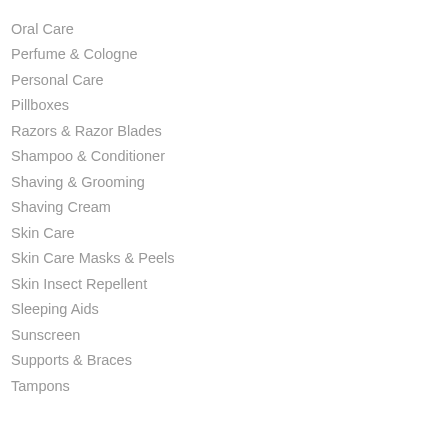Oral Care
Perfume & Cologne
Personal Care
Pillboxes
Razors & Razor Blades
Shampoo & Conditioner
Shaving & Grooming
Shaving Cream
Skin Care
Skin Care Masks & Peels
Skin Insect Repellent
Sleeping Aids
Sunscreen
Supports & Braces
Tampons